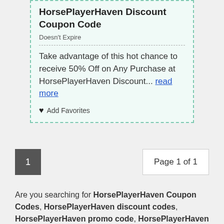HorsePlayerHaven Discount Coupon Code
Doesn't Expire
Take advantage of this hot chance to receive 50% Off on Any Purchase at HorsePlayerHaven Discount... read more
♥ Add Favorites
1
Page 1 of 1
Are you searching for HorsePlayerHaven Coupon Codes, HorsePlayerHaven discount codes, HorsePlayerHaven promo code, HorsePlayerHaven voucher code ,and HorsePlayerHaven deals? Congratulations, EventsCoupons is the best place for you to save money for your shopping. Here we offer free all the